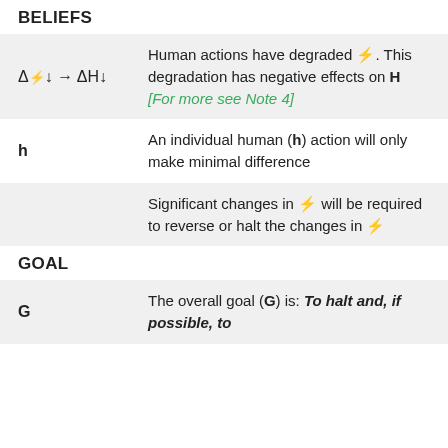BELIEFS
| Symbol | Description |
| --- | --- |
| ΔΙ↓ → ΔH↓ | Human actions have degraded Ι. This degradation has negative effects on H [For more see Note 4] |
| h | An individual human (h) action will only make minimal difference |
|  | Significant changes in Ι will be required to reverse or halt the changes in Ι |
GOAL
| Symbol | Description |
| --- | --- |
| G | The overall goal (G) is: To halt and, if possible, to |